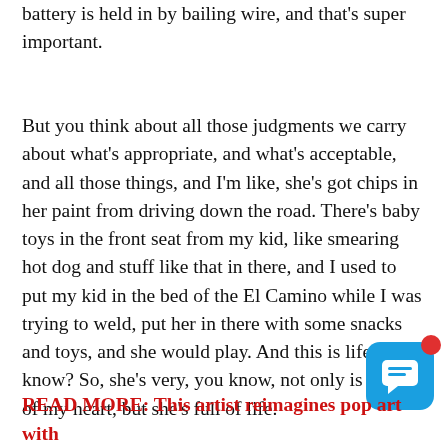battery is held in by bailing wire, and that's super important.
But you think about all those judgments we carry about what's appropriate, and what's acceptable, and all those things, and I'm like, she's got chips in her paint from driving down the road. There's baby toys in the front seat from my kid, like smearing hot dog and stuff like that in there, and I used to put my kid in the bed of the El Camino while I was trying to weld, put her in there with some snacks and toys, and she would play. And this is life, you know? So, she's very, you know, not only is she full of my heart, but she's full of life.
READ MORE: This artist reimagines pop art with